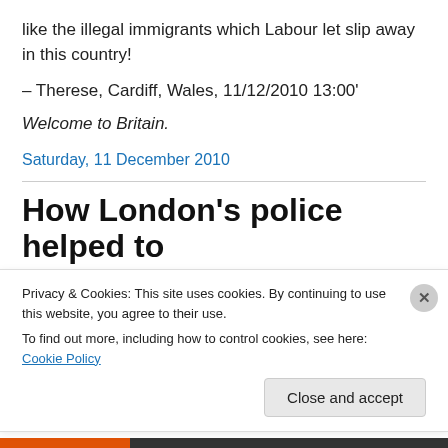like the illegal immigrants which Labour let slip away in this country!
– Therese, Cardiff, Wales, 11/12/2010 13:00'
Welcome to Britain.
Saturday, 11 December 2010
How London's police helped to
Privacy & Cookies: This site uses cookies. By continuing to use this website, you agree to their use.
To find out more, including how to control cookies, see here: Cookie Policy
Close and accept